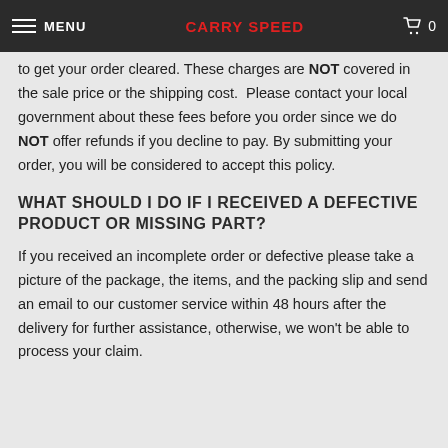MENU | CARRY SPEED | 0
to get your order cleared. These charges are NOT covered in the sale price or the shipping cost.  Please contact your local government about these fees before you order since we do NOT offer refunds if you decline to pay. By submitting your order, you will be considered to accept this policy.
WHAT SHOULD I DO IF I RECEIVED A DEFECTIVE PRODUCT OR MISSING PART?
If you received an incomplete order or defective please take a picture of the package, the items, and the packing slip and send an email to our customer service within 48 hours after the delivery for further assistance, otherwise, we won't be able to process your claim.